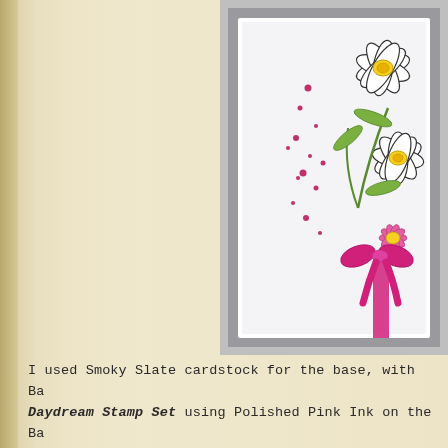[Figure (photo): Close-up photo of a handmade greeting card with Smoky Slate cardstock base, featuring daffodil flowers stamped and colored with white petals and yellow/pink centers, scattered pink dot embellishments, and a pink ribbon bow at the bottom center. The card is layered on gray cardstock.]
I used Smoky Slate cardstock for the base, with Ba... Daydream Stamp Set using Polished Pink Ink on the Ba... Bag through the Bark 3D Embossing Folder and cut it o...